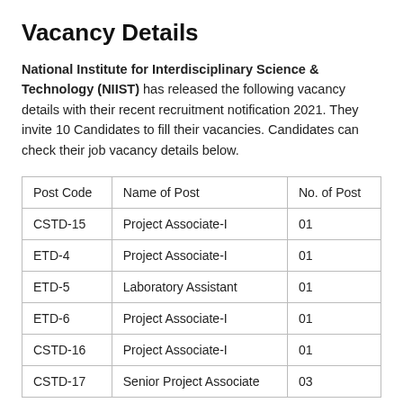Vacancy Details
National Institute for Interdisciplinary Science & Technology (NIIST) has released the following vacancy details with their recent recruitment notification 2021. They invite 10 Candidates to fill their vacancies. Candidates can check their job vacancy details below.
| Post Code | Name of Post | No. of Post |
| --- | --- | --- |
| CSTD-15 | Project Associate-I | 01 |
| ETD-4 | Project Associate-I | 01 |
| ETD-5 | Laboratory Assistant | 01 |
| ETD-6 | Project Associate-I | 01 |
| CSTD-16 | Project Associate-I | 01 |
| CSTD-17 | Senior Project Associate | 03 |